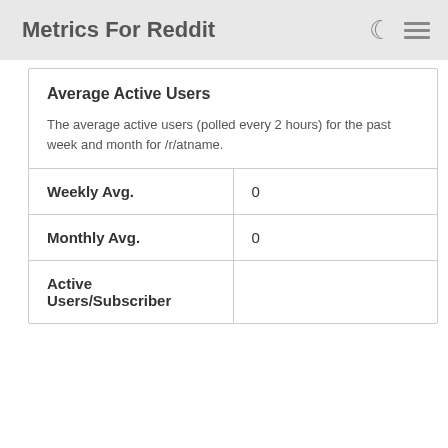Metrics For Reddit
Average Active Users
The average active users (polled every 2 hours) for the past week and month for /r/atname.
| Weekly Avg. | 0 |
| Monthly Avg. | 0 |
| Active Users/Subscriber |  |